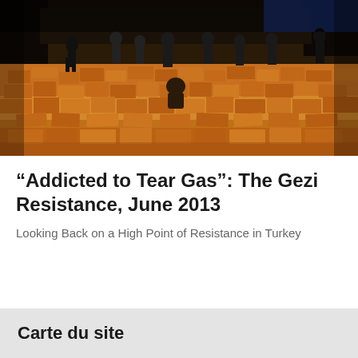[Figure (photo): Nighttime protest/resistance scene showing people standing on a large pile of bricks and rubble, lit by warm orange light. Multiple figures visible at the top of the debris pile.]
“Addicted to Tear Gas”: The Gezi Resistance, June 2013
Looking Back on a High Point of Resistance in Turkey
Carte du site